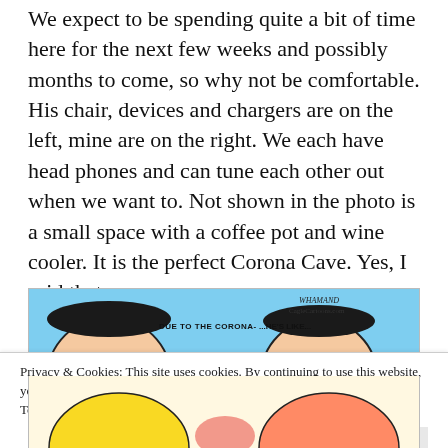We expect to be spending quite a bit of time here for the next few weeks and possibly months to come, so why not be comfortable. His chair, devices and chargers are on the left, mine are on the right. We each have head phones and can tune each other out when we want to. Not shown in the photo is a small space with a coffee pot and wine cooler. It is the perfect Corona Cave. Yes, I said that.
[Figure (illustration): Top portion of a comic cartoon strip showing two characters with text 'DUE TO THE CORONA-' and a partial second caption, signed 'WHAMAND CagleCartoons.com']
Privacy & Cookies: This site uses cookies. By continuing to use this website, you agree to their use. To find out more, including how to control cookies, see here: Cookie Policy
Close and accept
[Figure (illustration): Bottom portion of a comic cartoon strip showing colorful cartoon characters in yellow, orange, and red tones.]